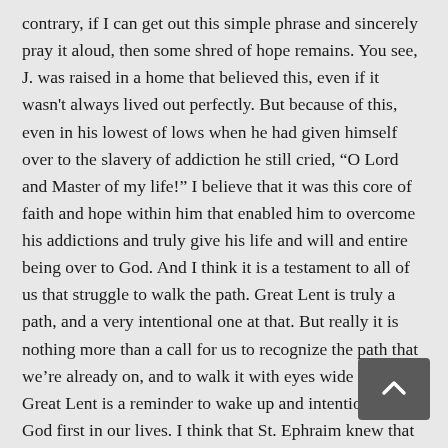contrary, if I can get out this simple phrase and sincerely pray it aloud, then some shred of hope remains. You see, J. was raised in a home that believed this, even if it wasn't always lived out perfectly. But because of this, even in his lowest of lows when he had given himself over to the slavery of addiction he still cried, “O Lord and Master of my life!” I believe that it was this core of faith and hope within him that enabled him to overcome his addictions and truly give his life and will and entire being over to God. And I think it is a testament to all of us that struggle to walk the path. Great Lent is truly a path, and a very intentional one at that. But really it is nothing more than a call for us to recognize the path that we’re already on, and to walk it with eyes wide open. Great Lent is a reminder to wake up and intentionally put God first in our lives. I think that St. Ephraim knew that in order to do this we first have to start by reminding ourselves who we are giving control to. This world is eager for control of us. All the advertisements, all the slogans, all the propaganda, and most of what we watch on television or in the theater tells us one